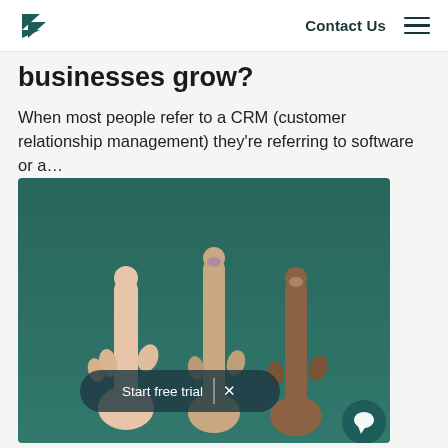Zendesk | Contact Us
businesses grow?
When most people refer to a CRM (customer relationship management) they're referring to software or a...
[Figure (photo): Three hands pointing index fingers upward against a teal/dark green background, with a 'Start free trial' pill overlay and a chat bubble icon in the bottom right corner.]